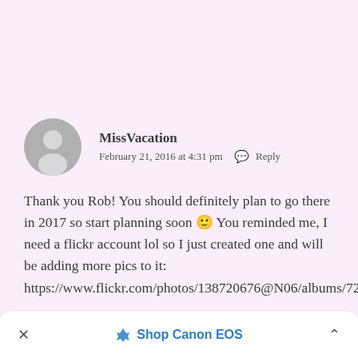[Figure (illustration): Generic grey user avatar silhouette circle]
MissVacation
February 21, 2016 at 4:31 pm  Reply
Thank you Rob! You should definitely plan to go there in 2017 so start planning soon 🙂 You reminded me, I need a flickr account lol so I just created one and will be adding more pics to it: https://www.flickr.com/photos/138720676@N06/albums/72157662598680464
× Shop Canon EOS ^